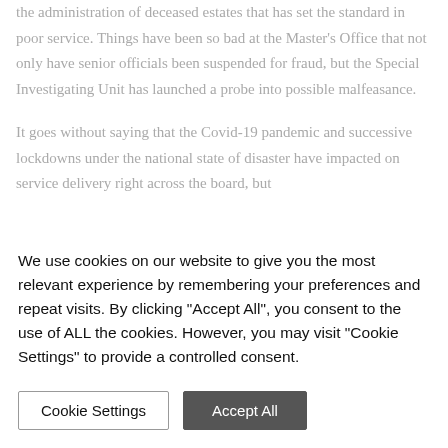the administration of deceased estates that has set the standard in poor service. Things have been so bad at the Master's Office that not only have senior officials been suspended for fraud, but the Special Investigating Unit has launched a probe into possible malfeasance.
It goes without saying that the Covid-19 pandemic and successive lockdowns under the national state of disaster have impacted on service delivery right across the board, but
We use cookies on our website to give you the most relevant experience by remembering your preferences and repeat visits. By clicking "Accept All", you consent to the use of ALL the cookies. However, you may visit "Cookie Settings" to provide a controlled consent.